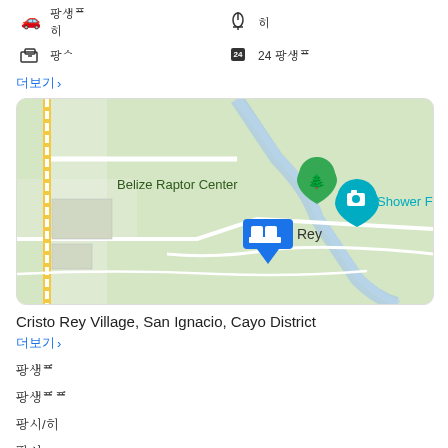[Figure (other): Amenity icons row: car/transport icon with non-Latin text, and wine glass icon with non-Latin text]
[Figure (other): Amenity icons row: luggage/baggage icon with non-Latin text, and 24-hour service icon with non-Latin text]
더보기 >
[Figure (map): Google Maps showing Cristo Rey Village area with Belize Raptor Center, Shower Falls, and a hotel pin marker]
Cristo Rey Village, San Ignacio, Cayo District
더보기 >
체크인날
체크아웃날
객실/인원
요금정
기타정보